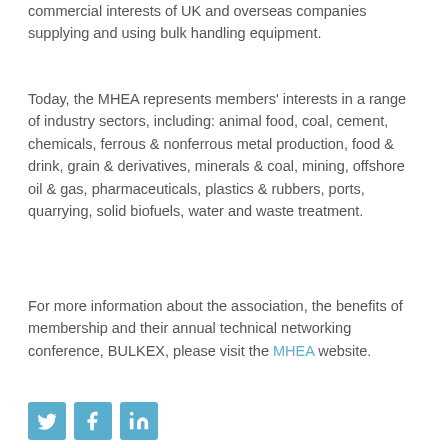commercial interests of UK and overseas companies supplying and using bulk handling equipment.
Today, the MHEA represents members' interests in a range of industry sectors, including: animal food, coal, cement, chemicals, ferrous & nonferrous metal production, food & drink, grain & derivatives, minerals & coal, mining, offshore oil & gas, pharmaceuticals, plastics & rubbers, ports, quarrying, solid biofuels, water and waste treatment.
For more information about the association, the benefits of membership and their annual technical networking conference, BULKEX, please visit the MHEA website.
[Figure (other): Social media icons: Twitter, Facebook, LinkedIn on light blue square backgrounds]